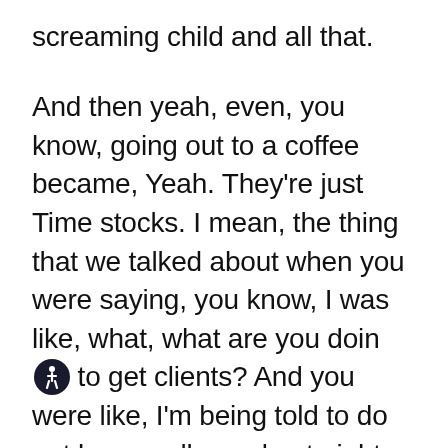screaming child and all that.
And then yeah, even, you know, going out to a coffee became, Yeah. They're just Time stocks. I mean, the thing that we talked about when you were saying, you know, I was like, what, what are you doing to get clients? And you were like, I'm being told to do pot buys, call people at night. I'm like, no, like you're literally eight months pregnant, and I'm like, that's not going to work. And so, you know, just being able to do marketing, modern marketing,